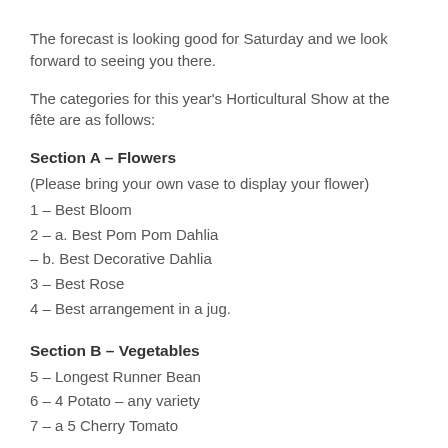The forecast is looking good for Saturday and we look forward to seeing you there.
The categories for this year's Horticultural Show at the fête are as follows:
Section A – Flowers
(Please bring your own vase to display your flower)
1 – Best Bloom
2 – a. Best Pom Pom Dahlia
– b. Best Decorative Dahlia
3 – Best Rose
4 – Best arrangement in a jug.
Section B – Vegetables
5 – Longest Runner Bean
6 – 4 Potato – any variety
7 – a 5 Cherry Tomato